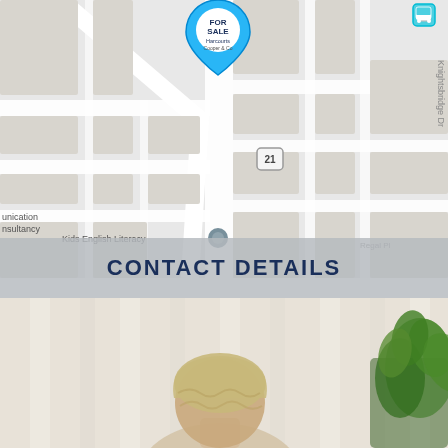[Figure (map): Street map showing a property for sale marked with a Harcourts Cooper & Co pin, with nearby landmarks including bus stop, Kids English Literacy, streets including Knightsbridge Dr and Regal Pl, and a route 21 marker.]
CONTACT DETAILS
[Figure (photo): Portrait photo of a real estate agent with blonde/grey hair, seated in a light interior setting with a plant visible in the background.]